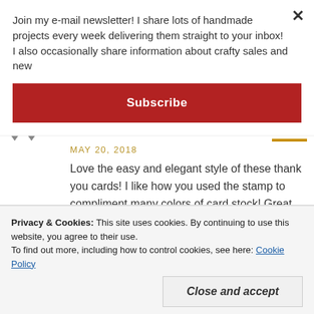Join my e-mail newsletter! I share lots of handmade projects every week delivering them straight to your inbox! I also occasionally share information about crafty sales and new
Subscribe
MAY 20, 2018
Love the easy and elegant style of these thank you cards! I like how you used the stamp to compliment many colors of card stock! Great idea and thank you for sharing!!!
Privacy & Cookies: This site uses cookies. By continuing to use this website, you agree to their use.
To find out more, including how to control cookies, see here: Cookie Policy
Close and accept
Great simple and easy cards !!